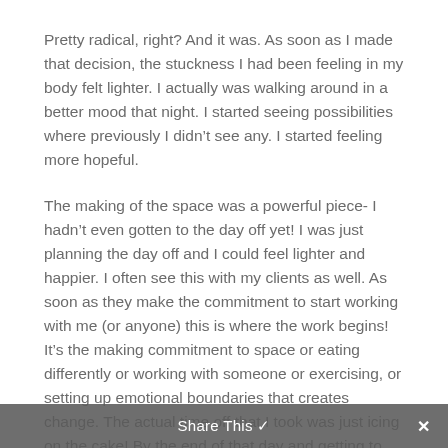Pretty radical, right? And it was. As soon as I made that decision, the stuckness I had been feeling in my body felt lighter. I actually was walking around in a better mood that night. I started seeing possibilities where previously I didn't see any. I started feeling more hopeful.
The making of the space was a powerful piece- I hadn't even gotten to the day off yet! I was just planning the day off and I could feel lighter and happier. I often see this with my clients as well. As soon as they make the commitment to start working with me (or anyone) this is where the work begins! It's the making commitment to space or eating differently or working with someone or exercising, or setting up emotional boundaries that creates change. The actual time off that I took was just icing on the cake! By the end of that day and getting to experience the nurturing that I needed, that I
Share This ✓  ✕